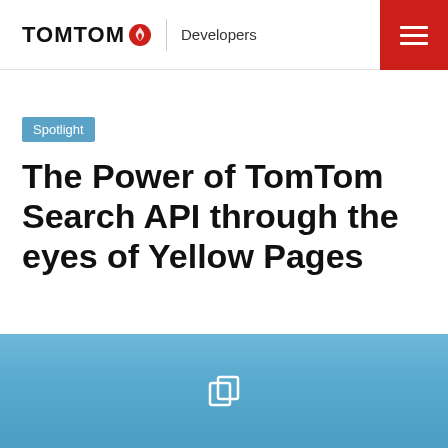TomTom Developers
Spotlight
The Power of TomTom Search API through the eyes of Yellow Pages
Kenneth Clay
Jan 6, 2020 • Last edit on Jan 29, 2021 • 4 min read
[Figure (illustration): Blue gradient background section with a copy/duplicate icon in white]